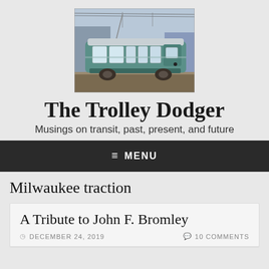[Figure (photo): Photo of a green/teal vintage streetcar (PCC trolley car) on tracks, side view, overhead wires visible, taken in an urban setting.]
The Trolley Dodger
Musings on transit, past, present, and future
≡ MENU
Milwaukee traction
A Tribute to John F. Bromley
DECEMBER 24, 2019    10 COMMENTS